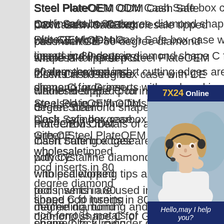Steel PlateOEM ODM Cash Safe box case with CE wholesale tipped pcd inserts in 80 degree diamond shape C for Green Steel PlateOEM ODM Cash Safe box case with CE wholesaletipped pcd inserts in 80 degree diamond shape C for turning non-ferrous metals of aluminum, the pcd insert cutting edges are made with polycrystalline diamond, indexed inserts with pcd working tips are precision cutting tools, which are used in cnc fine finish machining, turning and milling automobile engine block, cylinder head, gearbox, cast aluminum alloy with silicon content Green Steel PlateOEM ODM Cash Safe box case with CE wholesale
[Figure (other): 7X24 Online chat widget with a female customer service representative wearing a headset, with 'Hello, may I help you?' text and a 'Get Latest Price' button.]
tipped pcd inserts in 80 degree diamond shape C for Green Steel PlateOEM ODM